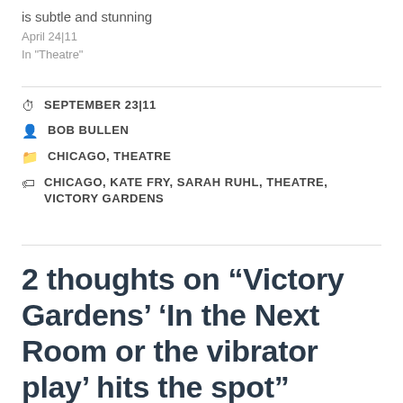is subtle and stunning
April 24|11
In "Theatre"
SEPTEMBER 23|11
BOB BULLEN
CHICAGO, THEATRE
CHICAGO, KATE FRY, SARAH RUHL, THEATRE, VICTORY GARDENS
2 thoughts on “Victory Gardens’ ‘In the Next Room or the vibrator play’ hits the spot”